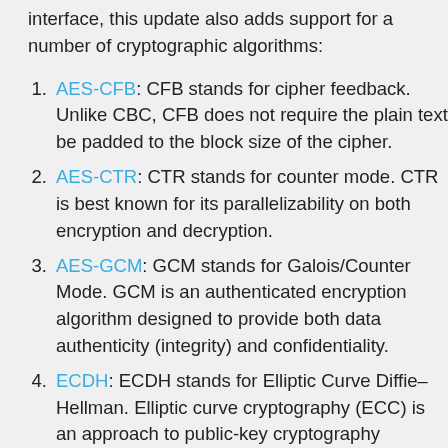Together with the new `subtlecrypto` interface, this update also adds support for a number of cryptographic algorithms:
AES-CFB: CFB stands for cipher feedback. Unlike CBC, CFB does not require the plain text be padded to the block size of the cipher.
AES-CTR: CTR stands for counter mode. CTR is best known for its parallelizability on both encryption and decryption.
AES-GCM: GCM stands for Galois/Counter Mode. GCM is an authenticated encryption algorithm designed to provide both data authenticity (integrity) and confidentiality.
ECDH: ECDH stands for Elliptic Curve Diffie–Hellman. Elliptic curve cryptography (ECC) is an approach to public-key cryptography